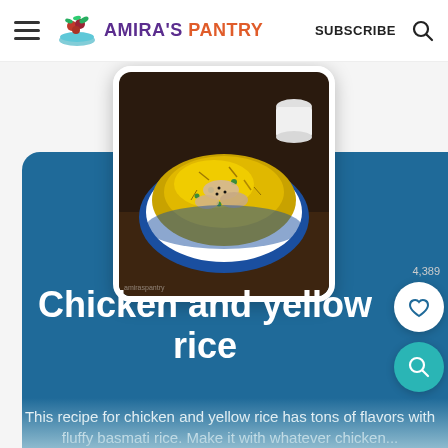AMIRA'S PANTRY | SUBSCRIBE
[Figure (photo): A blue ceramic bowl filled with yellow basmati rice and sliced chicken pieces, viewed from above on a dark background]
Chicken and yellow rice
This recipe for chicken and yellow rice has tons of flavors with fluffy basmati rice. Make it with whatever chicken...